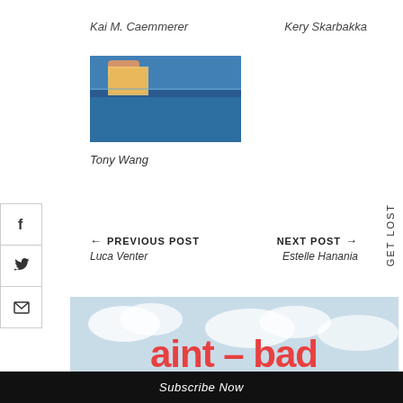Kai M. Caemmerer
Kery Skarbakka
[Figure (photo): A hand placing a photograph into a blue dumpster or container]
Tony Wang
GET LOST
← PREVIOUS POST
Luca Venter
NEXT POST →
Estelle Hanania
[Figure (logo): aint-bad magazine banner with sky background and red text reading 'aint – bad']
Subscribe Now